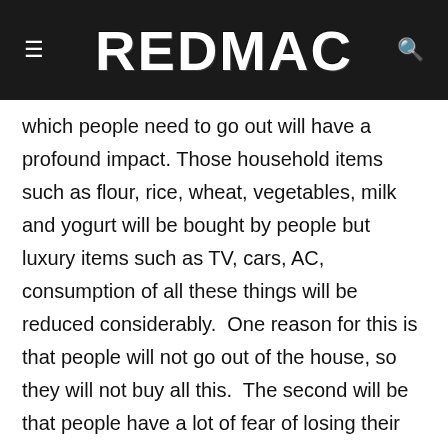REDMAC
which people need to go out will have a profound impact. Those household items such as flour, rice, wheat, vegetables, milk and yogurt will be bought by people but luxury items such as TV, cars, AC, consumption of all these things will be reduced considerably.  One reason for this is that people will not go out of the house, so they will not buy all this.  The second will be that people have a lot of fear of losing their jobs because of that people will reduce spending money. To be fair, in this entire phase of lockdown and corona virus, the most impact will be on the aviation, tourism, hotel sector. The corona virus has not just been a global health crisis, but has also become a major labor market and economic crisis that will affect people in a big way. Due to the corona virus, 25 million jobs worldwide are in danger. The impact of this disaster is affecting the whole world.  Large countries and strong